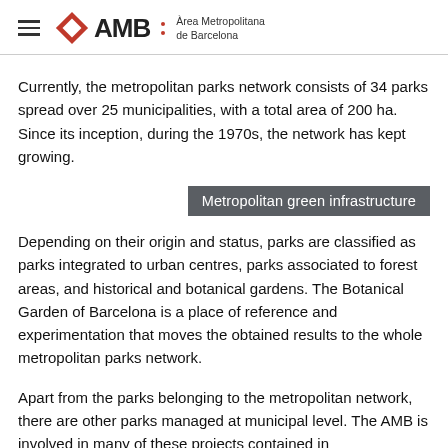AMB | Àrea Metropolitana de Barcelona
Currently, the metropolitan parks network consists of 34 parks spread over 25 municipalities, with a total area of 200 ha. Since its inception, during the 1970s, the network has kept growing.
Metropolitan green infrastructure
Depending on their origin and status, parks are classified as parks integrated to urban centres, parks associated to forest areas, and historical and botanical gardens. The Botanical Garden of Barcelona is a place of reference and experimentation that moves the obtained results to the whole metropolitan parks network.
Apart from the parks belonging to the metropolitan network, there are other parks managed at municipal level. The AMB is involved in many of these projects contained in